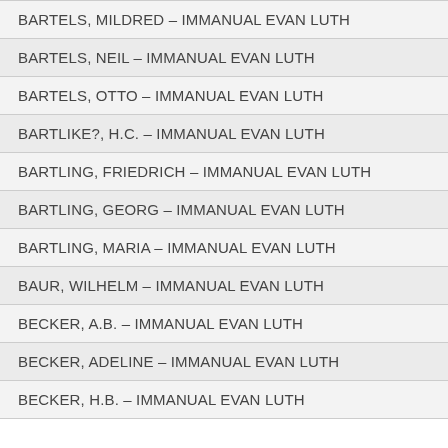BARTELS, MILDRED – IMMANUAL EVAN LUTH
BARTELS, NEIL – IMMANUAL EVAN LUTH
BARTELS, OTTO – IMMANUAL EVAN LUTH
BARTLIKE?, H.C. – IMMANUAL EVAN LUTH
BARTLING, FRIEDRICH – IMMANUAL EVAN LUTH
BARTLING, GEORG – IMMANUAL EVAN LUTH
BARTLING, MARIA – IMMANUAL EVAN LUTH
BAUR, WILHELM – IMMANUAL EVAN LUTH
BECKER, A.B. – IMMANUAL EVAN LUTH
BECKER, ADELINE – IMMANUAL EVAN LUTH
BECKER, H.B. – IMMANUAL EVAN LUTH